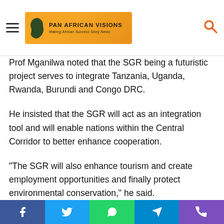Pan African Visions — Making African Success Story News
Prof Mganilwa noted that the SGR being a futuristic project serves to integrate Tanzania, Uganda, Rwanda, Burundi and Congo DRC.
He insisted that the SGR will act as an integration tool and will enable nations within the Central Corridor to better enhance cooperation.
“The SGR will also enhance tourism and create employment opportunities and finally protect environmental conservation,” he said.
He reveals: “The SGR will have massive harmonization values for the Central Corridor and is crucial to development and
Social share buttons: Facebook, Twitter, WhatsApp, Telegram, Phone